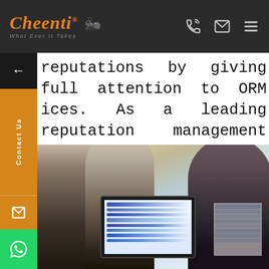[Figure (logo): Cheenti logo with orange stylized text and ant graphic, tagline 'What Ever It Takes' on dark background navigation bar with phone, email, and menu icons]
reputations by giving full attention to ORM ices. As a leading reputation management firm, offer a wide variety of services to meet the ous needs of our clients
[Figure (photo): Three business professionals gathered around a laptop reviewing charts and data in an office setting with window blinds in background]